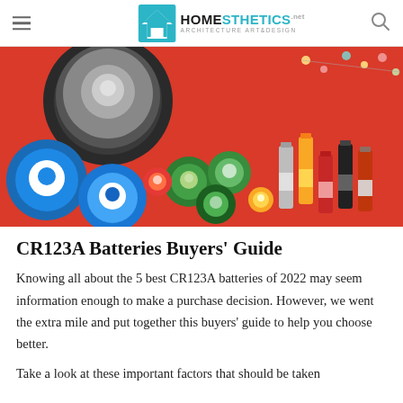Homesthetics — Architecture Art & Design
[Figure (photo): A collection of various types and sizes of batteries (AA, AAA, D-cell, button cells) arranged on a bright red background, viewed from above. The batteries have colorful wrappings including blue, green, yellow, red, and black.]
CR123A Batteries Buyers' Guide
Knowing all about the 5 best CR123A batteries of 2022 may seem information enough to make a purchase decision. However, we went the extra mile and put together this buyers' guide to help you choose better.
Take a look at these important factors that should be taken